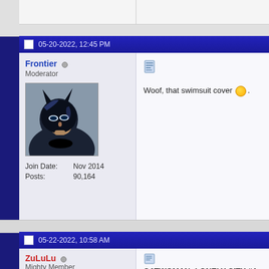05-20-2022, 12:45 PM
Frontier
Moderator
[Figure (illustration): Batman avatar artwork showing Batman in blue/black tones]
Join Date: Nov 2014
Posts: 90,164
Woof, that swimsuit cover 😊.
05-22-2022, 10:58 AM
ZuLuLu
Mighty Member
Join Date: Dec 2015
Posts: 1,165
CATWOMAN: LONELY CITY #4